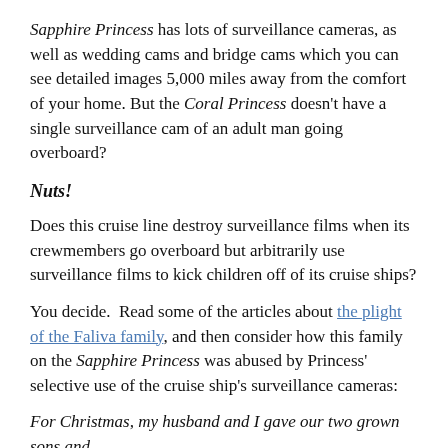Sapphire Princess has lots of surveillance cameras, as well as wedding cams and bridge cams which you can see detailed images 5,000 miles away from the comfort of your home. But the Coral Princess doesn't have a single surveillance cam of an adult man going overboard?
Nuts!
Does this cruise line destroy surveillance films when its crewmembers go overboard but arbitrarily use surveillance films to kick children off of its cruise ships?
You decide. Read some of the articles about the plight of the Faliva family, and then consider how this family on the Sapphire Princess was abused by Princess' selective use of the cruise ship's surveillance cameras:
For Christmas, my husband and I gave our two grown sons and